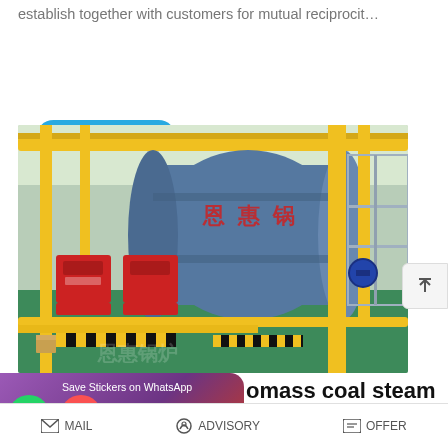establish together with customers for mutual reciprocit…
READ MORE
[Figure (photo): Industrial boiler room with large blue cylindrical boiler, red burner units, yellow pipes and scaffolding on green floor. Chinese industrial equipment.]
Save Stickers on WhatsApp
omass coal steam
MAIL   ADVISORY   OFFER